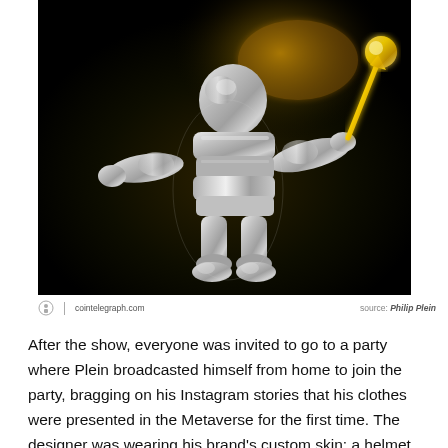[Figure (photo): A 3D rendered silver metallic humanoid figure with arms outstretched, holding a golden lightning bolt or wand, set against a dark black background. The figure has a rounded, bulky body with segmented limbs.]
cointelegraph.com   source: Philip Plein
After the show, everyone was invited to go to a party where Plein broadcasted himself from home to join the party, bragging on his Instagram stories that his clothes were presented in the Metaverse for the first time. The designer was wearing his brand's custom skin: a helmet with cat ears. It is clear that the Metaverse fashion adores cats.